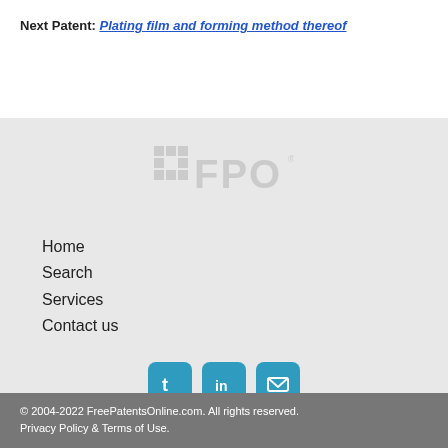Next Patent: Plating film and forming method thereof
[Figure (logo): FPO logo — pixelated grid icon with FPO text in gray]
Home
Search
Services
Contact us
[Figure (infographic): Three social media icon buttons: Twitter (t), LinkedIn (in), and Email (envelope) in teal/blue rounded squares]
© 2004-2022 FreePatentsOnline.com. All rights reserved. Privacy Policy & Terms of Use.